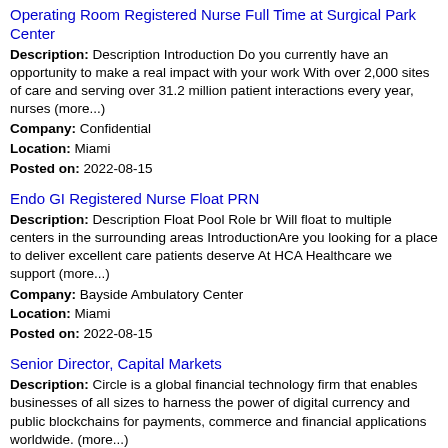Operating Room Registered Nurse Full Time at Surgical Park Center
Description: Description Introduction Do you currently have an opportunity to make a real impact with your work With over 2,000 sites of care and serving over 31.2 million patient interactions every year, nurses (more...)
Company: Confidential
Location: Miami
Posted on: 2022-08-15
Endo GI Registered Nurse Float PRN
Description: Description Float Pool Role br Will float to multiple centers in the surrounding areas IntroductionAre you looking for a place to deliver excellent care patients deserve At HCA Healthcare we support (more...)
Company: Bayside Ambulatory Center
Location: Miami
Posted on: 2022-08-15
Senior Director, Capital Markets
Description: Circle is a global financial technology firm that enables businesses of all sizes to harness the power of digital currency and public blockchains for payments, commerce and financial applications worldwide. (more...)
Company: Circle
Location: Miami
Posted on: 2022-08-15